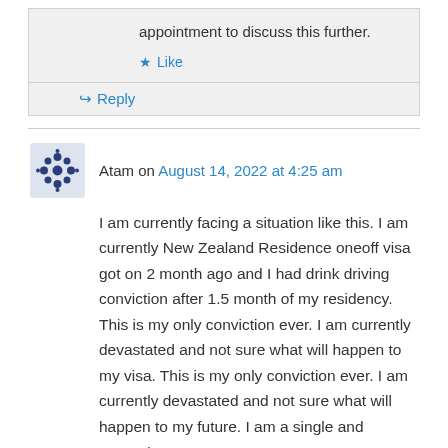appointment to discuss this further.
★ Like
↳ Reply
Atam on August 14, 2022 at 4:25 am
I am currently facing a situation like this. I am currently New Zealand Residence oneoff visa got on 2 month ago and I had drink driving conviction after 1.5 month of my residency. This is my only conviction ever. I am currently devastated and not sure what will happen to my visa. This is my only conviction ever. I am currently devastated and not sure what will happen to my future. I am a single and currently